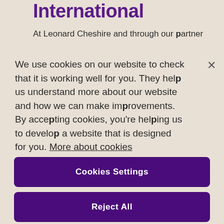International
At Leonard Cheshire and through our partner
We use cookies on our website to check that it is working well for you. They help us understand more about our website and how we can make improvements. By accepting cookies, you're helping us to develop a website that is designed for you. More about cookies
Cookies Settings
Reject All